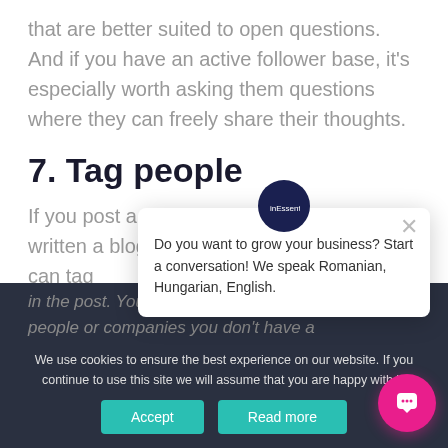that are better suited to open questions. And if you have an active follower base, it's especially worth asking them questions where they can freely share their thoughts.
7. Tag people
If you post a picture of someone who has written a blog article, tag that person. You can tag
[Figure (screenshot): Chat popup overlay saying 'Do you want to grow your business? Start a conversation! We speak Romanian, Hungarian, English.' with a close button and avatar icon.]
using the @sign, the same way you tag in the post. You can also tag on LinkedIn even people or companies you don't have a
We use cookies to ensure the best experience on our website. If you continue to use this site we will assume that you are happy with it.